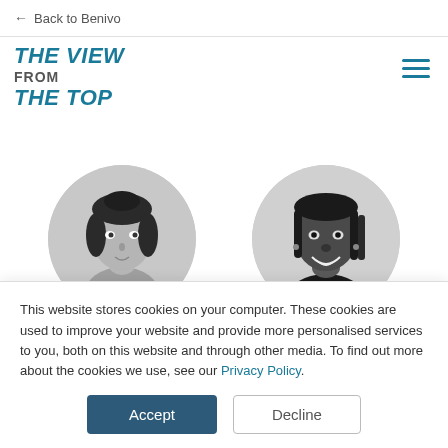← Back to Benivo
THE VIEW FROM THE TOP
[Figure (photo): Circular black-and-white headshot of Penny Angove, a woman with dark hair]
[Figure (photo): Circular black-and-white headshot of Maxine Ansah, a woman smiling]
Penny Angove
Maxine Ansah
This website stores cookies on your computer. These cookies are used to improve your website and provide more personalised services to you, both on this website and through other media. To find out more about the cookies we use, see our Privacy Policy.
Accept
Decline